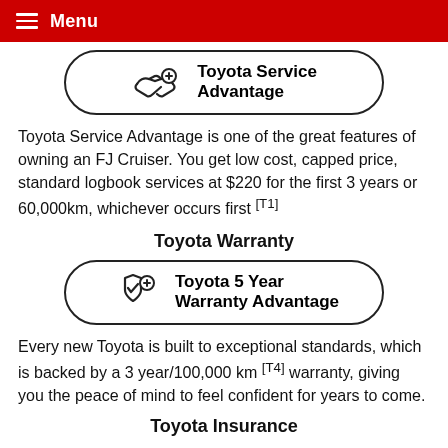≡ Menu
[Figure (illustration): Toyota Service Advantage pill-shaped button with handshake and plus icon]
Toyota Service Advantage is one of the great features of owning an FJ Cruiser. You get low cost, capped price, standard logbook services at $220 for the first 3 years or 60,000km, whichever occurs first [T1]
Toyota Warranty
[Figure (illustration): Toyota 5 Year Warranty Advantage pill-shaped button with shield checkmark and plus icon]
Every new Toyota is built to exceptional standards, which is backed by a 3 year/100,000 km [T4] warranty, giving you the peace of mind to feel confident for years to come.
Toyota Insurance